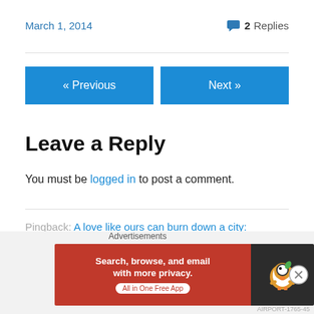March 1, 2014
2 Replies
« Previous
Next »
Leave a Reply
You must be logged in to post a comment.
Pingback: A love like ours can burn down a city: VICTORIA | Drive In Magazine
[Figure (infographic): DuckDuckGo advertisement banner: orange/red left section with text 'Search, browse, and email with more privacy. All in One Free App', dark right section with DuckDuckGo duck logo.]